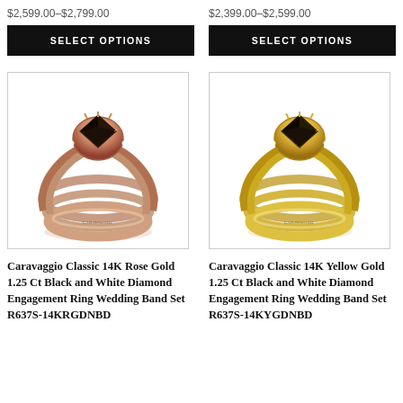$2,599.00–$2,799.00
$2,399.00–$2,599.00
SELECT OPTIONS
SELECT OPTIONS
[Figure (photo): Caravaggio Classic 14K Rose Gold engagement ring wedding band set with black and white diamonds, shown as a set of three rings with rose gold bands and a dark center stone]
[Figure (photo): Caravaggio Classic 14K Yellow Gold engagement ring wedding band set with black and white diamonds, shown as a set of three rings with yellow gold bands and a dark center stone]
Caravaggio Classic 14K Rose Gold 1.25 Ct Black and White Diamond Engagement Ring Wedding Band Set R637S-14KRGDNBD
Caravaggio Classic 14K Yellow Gold 1.25 Ct Black and White Diamond Engagement Ring Wedding Band Set R637S-14KYGDNBD